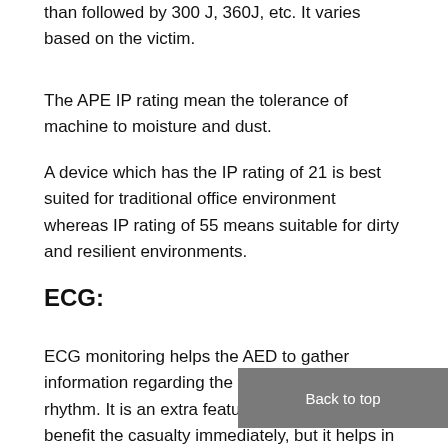than followed by 300 J, 360J, etc. It varies based on the victim.
The APE IP rating mean the tolerance of machine to moisture and dust.
A device which has the IP rating of 21 is best suited for traditional office environment whereas IP rating of 55 means suitable for dirty and resilient environments.
ECG:
ECG monitoring helps the AED to gather information regarding the victim's heart shock rhythm. It is an extra feature that does not benefit the casualty immediately, but it helps in providing better care when